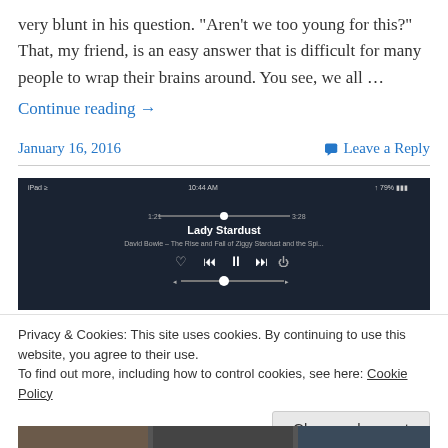very blunt in his question.  "Aren't we too young for this?" That, my friend, is an easy answer that is difficult for many people to wrap their brains around. You see, we all …
Continue reading →
January 16, 2016
Leave a Reply
[Figure (screenshot): Screenshot of an iPad music player app showing 'Lady Stardust' playing at 10:44 AM with 79% battery. Controls include heart, rewind, pause, fast-forward, and airplay buttons with a progress bar.]
Privacy & Cookies: This site uses cookies. By continuing to use this website, you agree to their use.
To find out more, including how to control cookies, see here: Cookie Policy
Close and accept